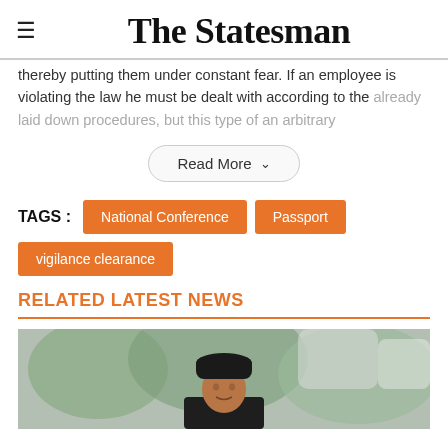The Statesman
thereby putting them under constant fear. If an employee is violating the law he must be dealt with according to the already laid down procedures, but this type of an arbitrary
Read More
TAGS : National Conference  Passport  vigilance clearance
RELATED LATEST NEWS
[Figure (photo): A person wearing a black cap/hat, shown from the chest up, outdoors with blurred green/white background.]